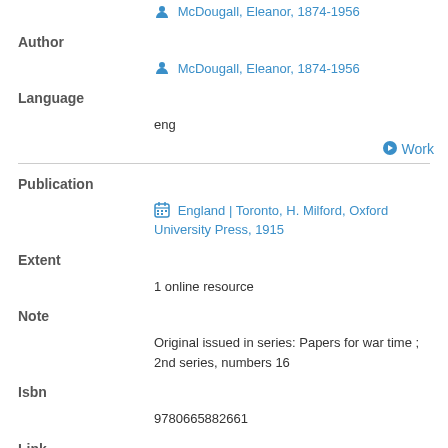McDougall, Eleanor, 1874-1956
Author
McDougall, Eleanor, 1874-1956
Language
eng
Work
Publication
England | Toronto, H. Milford, Oxford University Press, 1915
Extent
1 online resource
Note
Original issued in series: Papers for war time ; 2nd series, numbers 16
Isbn
9780665882661
Link